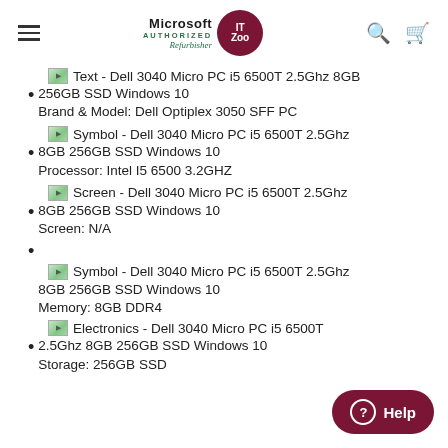Microsoft Authorized Refurbisher IT Zoo — navigation header with hamburger menu, logo, search and cart icons
[Figure (screenshot): Broken image placeholder labeled 'Text' next to product title]
256GB SSD Windows 10
Brand & Model: Dell Optiplex 3050 SFF PC
[Figure (screenshot): Broken image placeholder labeled 'Symbol' next to product title]
8GB 256GB SSD Windows 10
Processor: Intel I5 6500 3.2GHZ
[Figure (screenshot): Broken image placeholder labeled 'Screen' next to product title]
8GB 256GB SSD Windows 10
Screen: N/A
[Figure (screenshot): Broken image placeholder labeled 'Symbol' next to product title]
8GB 256GB SSD Windows 10
Memory: 8GB DDR4
[Figure (screenshot): Broken image placeholder labeled 'Electronics' next to product title]
2.5Ghz 8GB 256GB SSD Windows 10
Storage: 256GB SSD